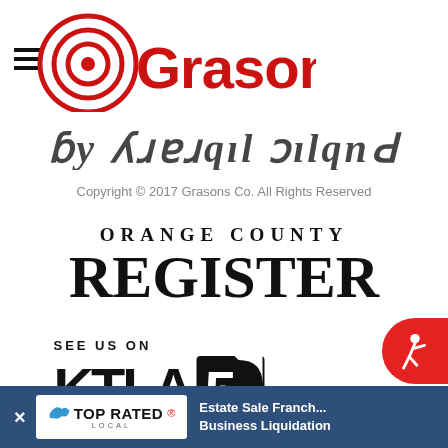[Figure (logo): Grasons company logo with hamburger menu icon and red target/circle graphic next to bold red 'Grasons' text]
[Figure (illustration): Partial cursive/script text visible at top, partially cut off]
Copyright © 2017 Grasons Co. All Rights Reserved
[Figure (logo): Orange County Register logo in bold serif font, two lines: 'ORANGE COUNTY' above 'REGISTER']
[Figure (logo): KTLA 5 logo with 'SEE US ON' label above and stylized '5' numeral in box]
[Figure (logo): Accessibility icon on red rounded button at bottom right]
[Figure (screenshot): Bottom ad banner: dark blue bar with X close button, Top Rated Local badge, and text 'Estate Sale Franchise Business Liquidation']